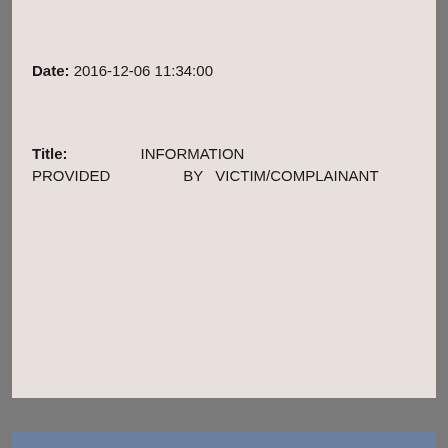Date: 2016-12-06 11:34:00
Title: INFORMATION PROVIDED BY VICTIM/COMPLAINANT
7 Months, 10 Days Later
Date: 2016-12-06 11:33:14
Title: INFORMATION PROVIDED BY VICTIM/COMPLAINANT